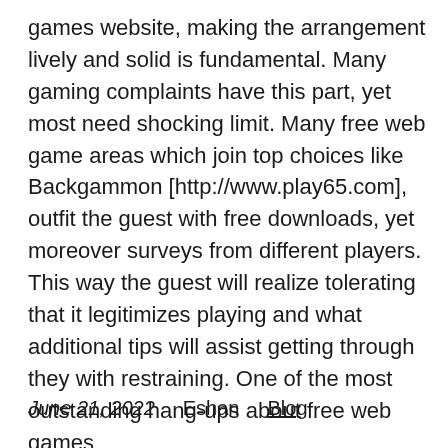games website, making the arrangement lively and solid is fundamental. Many gaming complaints have this part, yet most need shocking limit. Many free web game areas which join top choices like Backgammon [http://www.play65.com], outfit the guest with free downloads, yet moreover surveys from different players. This way the guest will realize tolerating that it legitimizes playing and what additional tips will assist getting through they with restraining. One of the most outstanding hang-ups about free web games
June 21, 2022    Eshan    Blog